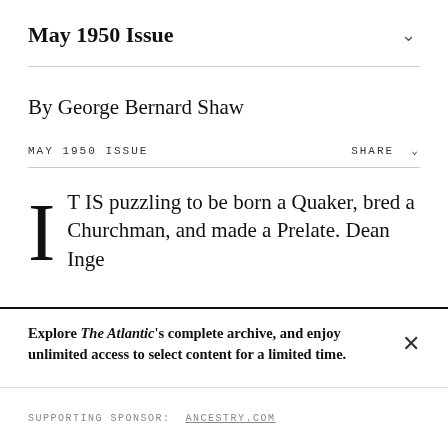May 1950 Issue
By George Bernard Shaw
MAY 1950 ISSUE   SHARE
I T IS puzzling to be born a Quaker, bred a Churchman, and made a Prelate. Dean Inge
Explore The Atlantic's complete archive, and enjoy unlimited access to select content for a limited time.
SUPPORTING SPONSOR:  ANCESTRY.COM